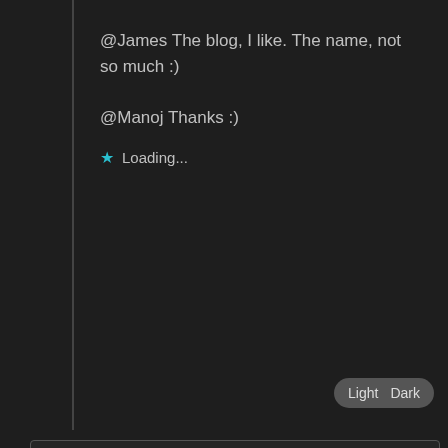@James The blog, I like. The name, not so much :)
@Manoj Thanks :)
Loading...
Manoj
March 26, 2009 at 2:43 am
You're perfectly right.
Loading...